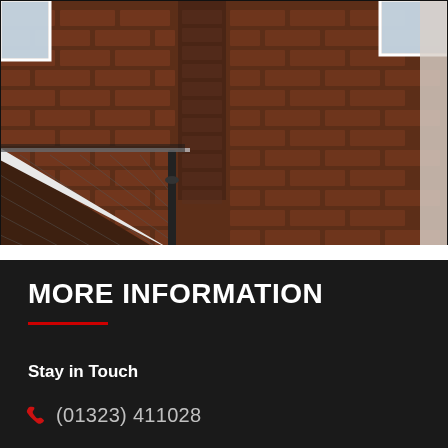[Figure (photo): Photograph of a red brick building exterior showing roof tiles, white guttering/downpipe, and brick wall with a drainpipe]
MORE INFORMATION
Stay in Touch
(01323) 411028